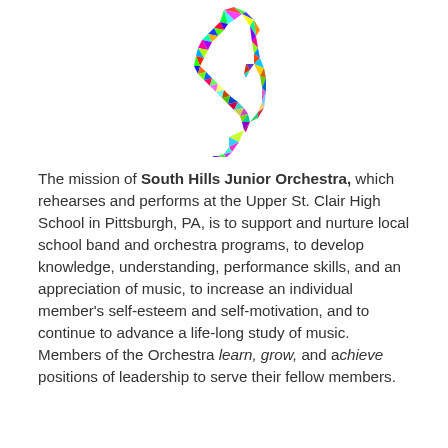[Figure (logo): Colorful mosaic treble clef symbol in multicolored triangular pattern forming a musical note shape]
The mission of South Hills Junior Orchestra, which rehearses and performs at the Upper St. Clair High School in Pittsburgh, PA, is to support and nurture local school band and orchestra programs, to develop knowledge, understanding, performance skills, and an appreciation of music, to increase an individual member's self-esteem and self-motivation, and to continue to advance a life-long study of music. Members of the Orchestra learn, grow, and achieve positions of leadership to serve their fellow members.